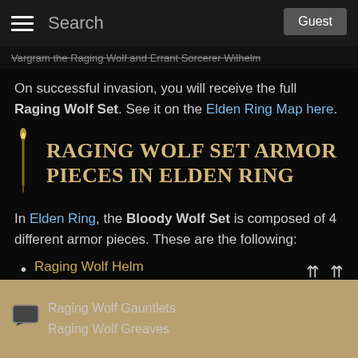Search | Guest
Vargram the Raging Wolf and Errant Sorcerer Wilhelm (strikethrough)
On successful invasion, you will receive the full Raging Wolf Set. See it on the Elden Ring Map here.
RAGING WOLF SET ARMOR PIECES IN ELDEN RING
In Elden Ring, the Bloody Wolf Set is composed of 4 different armor pieces. These are the following:
Raging Wolf Helm
Raging Wolf Armor
Raging Wolf Gauntlets
Raging Wolf Greaves